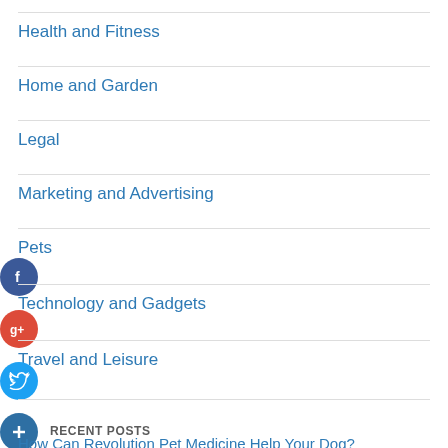Health and Fitness
Home and Garden
Legal
Marketing and Advertising
Pets
Technology and Gadgets
Travel and Leisure
RECENT POSTS
How Can Revolution Pet Medicine Help Your Dog?